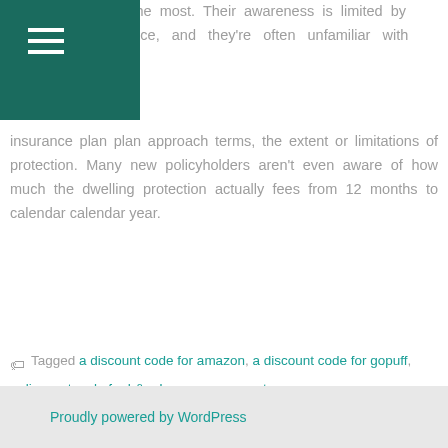nefit the most. Their awareness is limited by experience, and they're often unfamiliar with insurance plan plan approach terms, the extent or limitations of protection. Many new policyholders aren't even aware of how much the dwelling protection actually fees from 12 months to calendar calendar year.
Tagged a discount code for amazon, a discount code for gopuff, a discount code for h&m Leave a comment
Proudly powered by WordPress